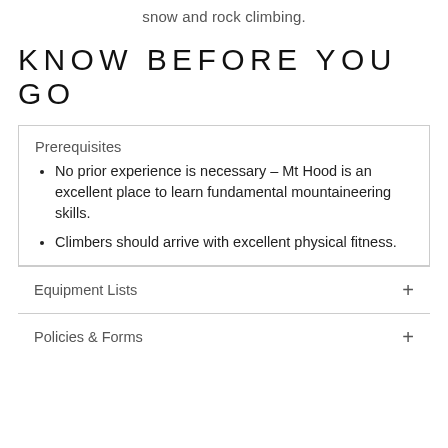snow and rock climbing.
KNOW BEFORE YOU GO
Prerequisites
No prior experience is necessary – Mt Hood is an excellent place to learn fundamental mountaineering skills.
Climbers should arrive with excellent physical fitness.
Equipment Lists
Policies & Forms